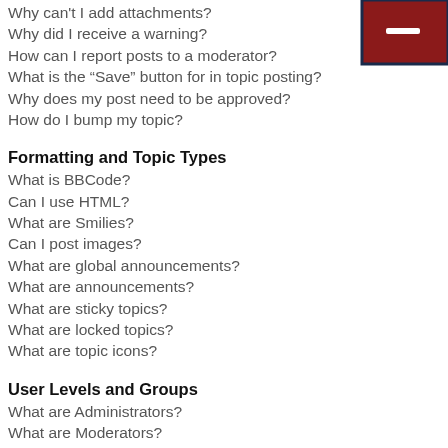[Figure (other): Dark red/maroon button icon with minus symbol in top-right corner]
Why can't I add attachments?
Why did I receive a warning?
How can I report posts to a moderator?
What is the “Save” button for in topic posting?
Why does my post need to be approved?
How do I bump my topic?
Formatting and Topic Types
What is BBCode?
Can I use HTML?
What are Smilies?
Can I post images?
What are global announcements?
What are announcements?
What are sticky topics?
What are locked topics?
What are topic icons?
User Levels and Groups
What are Administrators?
What are Moderators?
What are usergroups?
Where are the usergroups and how do I join one?
How do I become a usergroup leader?
Why do some usergroups appear in a different colour?
What is a “Default usergroup”?